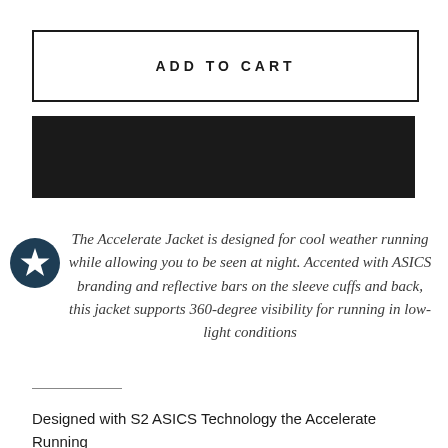ADD TO CART
[Figure (other): Black rectangular banner/bar]
The Accelerate Jacket is designed for cool weather running while allowing you to be seen at night. Accented with ASICS branding and reflective bars on the sleeve cuffs and back, this jacket supports 360-degree visibility for running in low-light conditions
Designed with S2 ASICS Technology the Accelerate Running